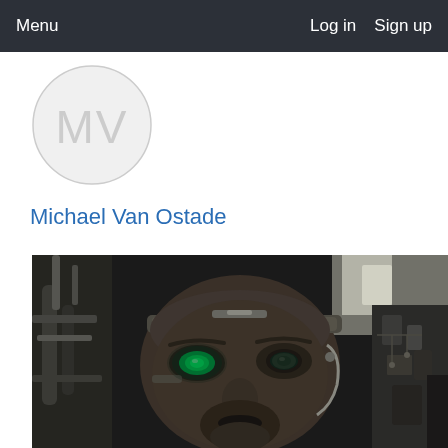Menu   Log in   Sign up
[Figure (illustration): Avatar circle with initials MV in gray on light gray background]
Michael Van Ostade
[Figure (photo): Cinematic close-up of a cyberpunk/sci-fi character with green glowing eyes, metallic implants on head, dark skin, futuristic cyborg aesthetic]